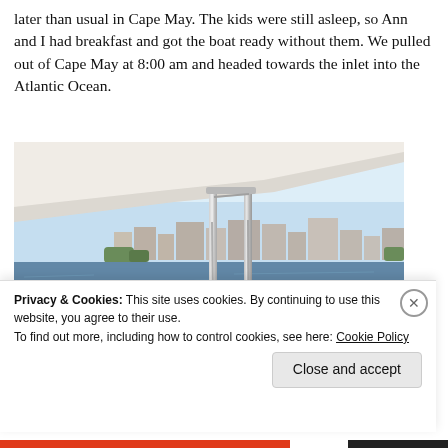later than usual in Cape May. The kids were still asleep, so Ann and I had breakfast and got the boat ready without them. We pulled out of Cape May at 8:00 am and headed towards the inlet into the Atlantic Ocean.
[Figure (photo): Photo taken from a boat showing the view from under a boat's canopy/hardtop. Steel support poles are visible. In the background is a calm blue waterway with buildings and homes along the far shore under a clear blue sky.]
Privacy & Cookies: This site uses cookies. By continuing to use this website, you agree to their use. To find out more, including how to control cookies, see here: Cookie Policy